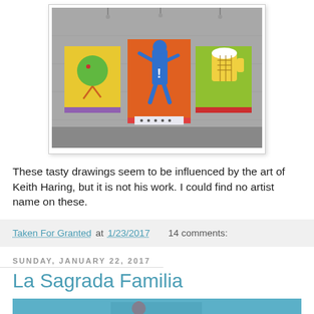[Figure (photo): Street art on a concrete wall showing three colorful murals influenced by Keith Haring style: left panel with yellow background showing a green character, center panel with orange background showing a blue figure with exclamation mark, right panel with green background showing a character with a beer mug.]
These tasty drawings seem to be influenced by the art of Keith Haring, but it is not his work. I could find no artist name on these.
Taken For Granted at 1/23/2017    14 comments:
Sunday, January 22, 2017
La Sagrada Familia
[Figure (photo): Partial view of a photo at the bottom of the page, appears to be a building or architecture photo, partially cropped.]